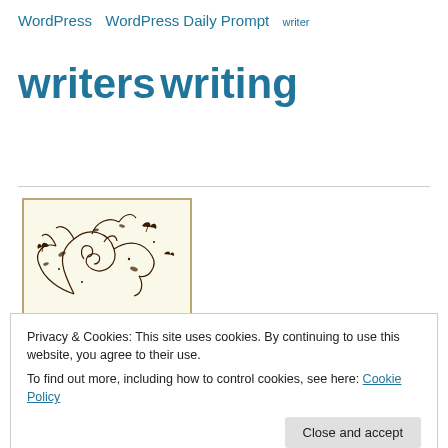WordPress  WordPress Daily Prompt  writer
writers writing
[Figure (illustration): Beautiful Blogger Award badge: cream/beige background with decorative floral scrollwork and butterfly designs in dark brown, text reads BLOG AWARDS WINNER / BEAUTIFUL BLOGGER / AWARD]
Privacy & Cookies: This site uses cookies. By continuing to use this website, you agree to their use.
To find out more, including how to control cookies, see here: Cookie Policy
Close and accept